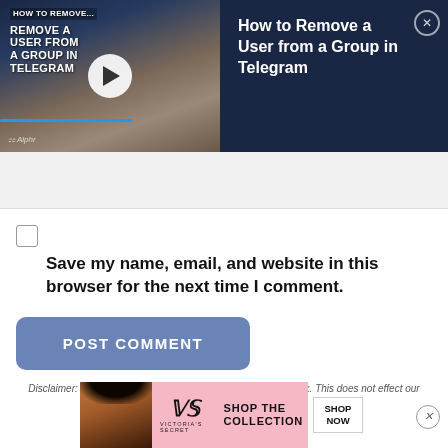[Figure (screenshot): Video thumbnail banner showing 'How to Remove a User from a Group in Telegram' with play button overlay on left side, and text title on dark blue right side with close button]
Save my name, email, and website in this browser for the next time I comment.
POST COMMENT
Disclaimer: Some pages on this site may include an affiliate link. This does not effect our editorial in any way.
[Figure (infographic): Victoria's Secret advertisement banner with model image, VS logo, 'SHOP THE COLLECTION' text, and 'SHOP NOW' button]